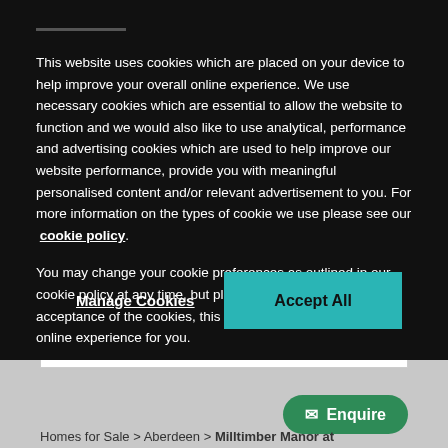This website uses cookies which are placed on your device to help improve your overall online experience. We use necessary cookies which are essential to allow the website to function and we would also like to use analytical, performance and advertising cookies which are used to help improve our website performance, provide you with meaningful personalised content and/or relevant advertisement to you. For more information on the types of cookie we use please see our cookie policy.
You may change your cookie preferences as outlined in our cookie policy at any time, but please note that by limiting acceptance of the cookies, this may result in a less tailored online experience for you.
Manage Cookies
Accept All
Availability & Prices
Enquire
Homes for Sale > Aberdeen > Milltimber Manor at